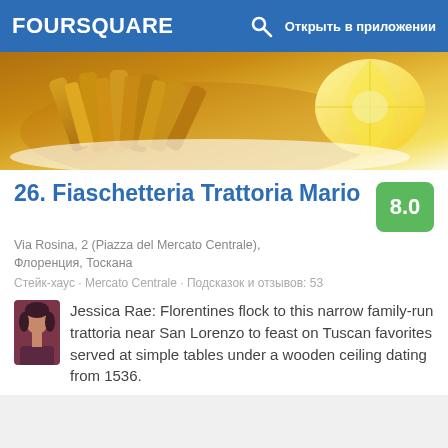FOURSQUARE  Открыть в приложении
[Figure (photo): Food photo showing fried potato wedges and a lemon slice on a white plate]
26. Fiaschetteria Trattoria Mario
8.0
Via Rosina, 2 (Piazza del Mercato Centrale), Флоренция, Тоскана
Стейк-хаус · Mercato Centrale · Подсказок и отзывов: 53
Jessica Rae: Florentines flock to this narrow family-run trattoria near San Lorenzo to feast on Tuscan favorites served at simple tables under a wooden ceiling dating from 1536.